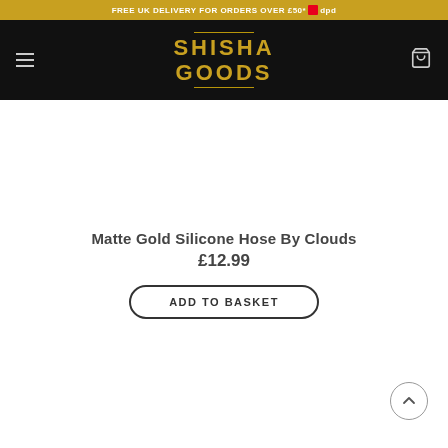FREE UK DELIVERY FOR ORDERS OVER £50* dpd
[Figure (logo): Shisha Goods logo with gold text on black background, flanked by horizontal gold lines. Hamburger menu icon on left, shopping cart icon on right.]
Matte Gold Silicone Hose By Clouds
£12.99
ADD TO BASKET